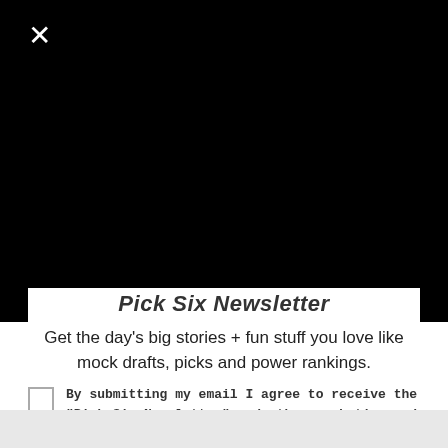[Figure (screenshot): Black overlay background covering top portion of page, representing a dimmed/modal overlay on a website]
Pick Six Newsletter
Get the day's big stories + fun stuff you love like mock drafts, picks and power rankings.
By submitting my email I agree to receive the "Pick Six Newsletter" and other marketing and promotional emails from CBS Sports, which may include information from our affiliates and/or partners' offers, products and services. For more information about our data practices consult our Privacy